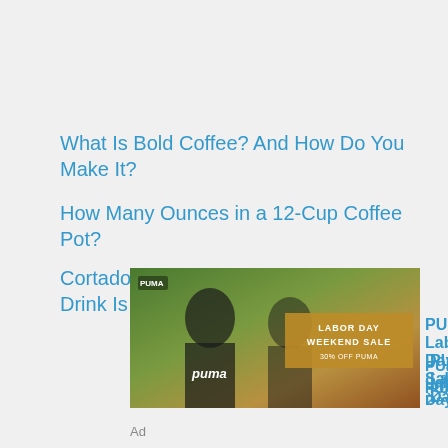What Is Bold Coffee? And How Do You Make It?
How Many Ounces in a 12-Cup Coffee Pot?
Cortado vs Flat White: Which Espresso Drink Is Right for You?
[Figure (photo): PUMA Labor Day Weekend Sale advertisement showing two people wearing PUMA gear with text 'LABOR DAY WEEKEND SALE 30% OFF PUMA']
Ad